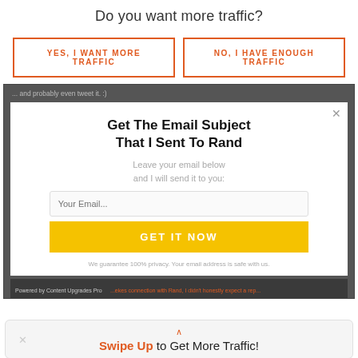Do you want more traffic?
YES, I WANT MORE TRAFFIC
NO, I HAVE ENOUGH TRAFFIC
[Figure (screenshot): Modal popup overlay on a darkened webpage background. The modal contains: title 'Get The Email Subject That I Sent To Rand', subtitle 'Leave your email below and I will send it to you:', an email input field placeholder 'Your Email...', a yellow button 'GET IT NOW', and privacy text 'We guarantee 100% privacy. Your email address is safe with us.' A close X button appears in the top right corner. Footer bar shows 'Powered by Content Upgrades Pro'.]
Swipe Up to Get More Traffic!